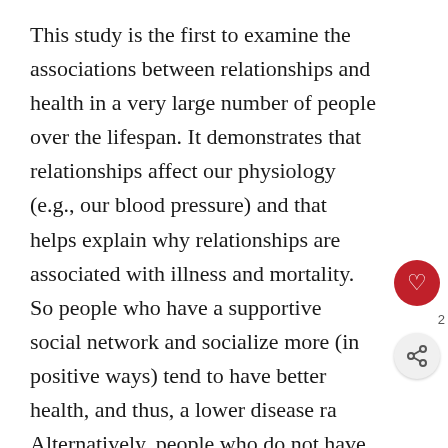This study is the first to examine the associations between relationships and health in a very large number of people over the lifespan. It demonstrates that relationships affect our physiology (e.g., our blood pressure) and that helps explain why relationships are associated with illness and mortality. So people who have a supportive social network and socialize more (in positive ways) tend to have better health, and thus, a lower disease ra... Alternatively, people who do not have a supporti... social network, are lonely, and don't go out tend have worse health, and thus, have a higher disease rate. Together, this research shows that our relationships can affect our health a great deal and